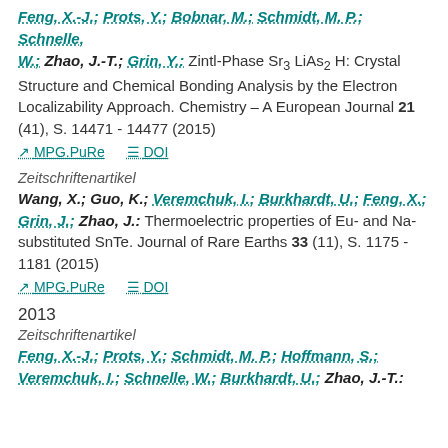Feng, X.-J.; Prots, Y.; Bobnar, M.; Schmidt, M. P.; Schnelle, W.; Zhao, J.-T.; Grin, Y.: Zintl-Phase Sr3 LiAs2 H: Crystal Structure and Chemical Bonding Analysis by the Electron Localizability Approach. Chemistry – A European Journal 21 (41), S. 14471 - 14477 (2015)
MPG.PuRe   DOI
Zeitschriftenartikel
Wang, X.; Guo, K.; Veremchuk, I.; Burkhardt, U.; Feng, X.; Grin, J.; Zhao, J.: Thermoelectric properties of Eu- and Na-substituted SnTe. Journal of Rare Earths 33 (11), S. 1175 - 1181 (2015)
MPG.PuRe   DOI
2013
Zeitschriftenartikel
Feng, X.-J.; Prots, Y.; Schmidt, M. P.; Hoffmann, S.; Veremchuk, I.; Schnelle, W.; Burkhardt, U.; Zhao, J.-T.;